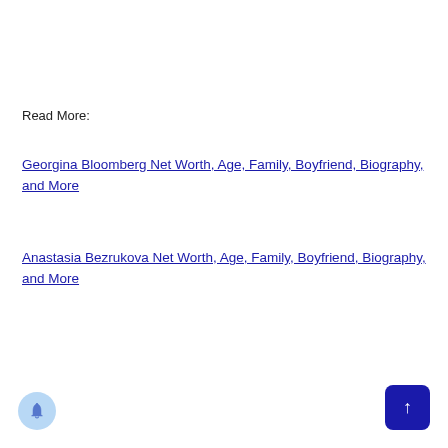Read More:
Georgina Bloomberg Net Worth, Age, Family, Boyfriend, Biography, and More
Anastasia Bezrukova Net Worth, Age, Family, Boyfriend, Biography, and More